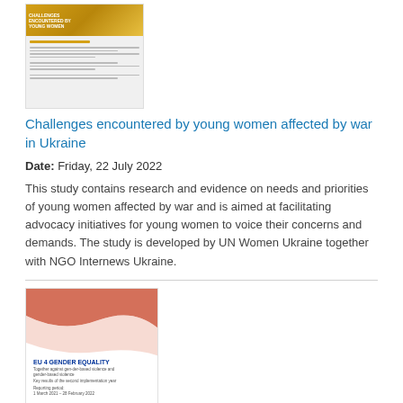[Figure (illustration): Thumbnail image of a report cover showing a yellow/gold banner with construction imagery and document pages with text lines]
Challenges encountered by young women affected by war in Ukraine
Date: Friday, 22 July 2022
This study contains research and evidence on needs and priorities of young women affected by war and is aimed at facilitating advocacy initiatives for young women to voice their concerns and demands. The study is developed by UN Women Ukraine together with NGO Internews Ukraine.
[Figure (illustration): Thumbnail image of EU 4 Gender Equality report cover with salmon/coral wave design and logos]
Key results of the second implementation year